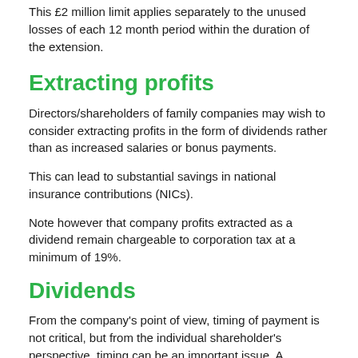This £2 million limit applies separately to the unused losses of each 12 month period within the duration of the extension.
Extracting profits
Directors/shareholders of family companies may wish to consider extracting profits in the form of dividends rather than as increased salaries or bonus payments.
This can lead to substantial savings in national insurance contributions (NICs).
Note however that company profits extracted as a dividend remain chargeable to corporation tax at a minimum of 19%.
Dividends
From the company's point of view, timing of payment is not critical, but from the individual shareholder's perspective, timing can be an important issue. A dividend payment in excess of the Dividend Allowance which is delayed until after the tax year ending on 5 April may give the shareholder an